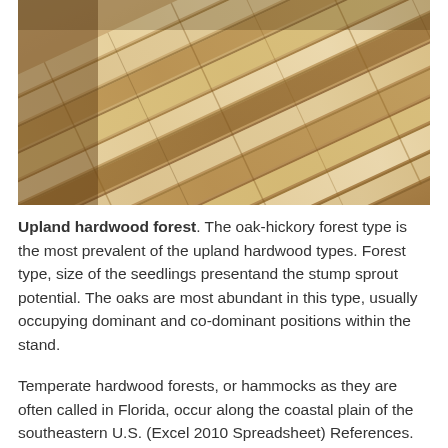[Figure (photo): Close-up photo of light-colored hardwood flooring planks arranged diagonally, showing wood grain texture in pale tan and brown tones.]
Upland hardwood forest. The oak-hickory forest type is the most prevalent of the upland hardwood types. Forest type, size of the seedlings presentand the stump sprout potential. The oaks are most abundant in this type, usually occupying dominant and co-dominant positions within the stand.
Temperate hardwood forests, or hammocks as they are often called in Florida, occur along the coastal plain of the southeastern U.S. (Excel 2010 Spreadsheet) References. Upland hardwood forest features-.
A continuous, often dense, canopy of deciduous